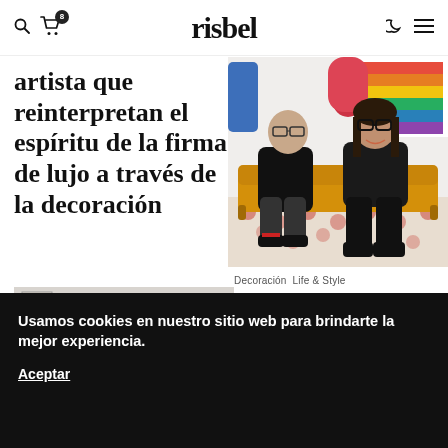risbel
artista que reinterpretan el espíritu de la firma de lujo a través de la decoración
[Figure (photo): Wall of framed artworks and prints in a studio or gallery space]
[Figure (photo): Two people (a man and a woman with glasses) sitting on a yellow sofa in front of colorful artwork]
Decoración  Life & Style
Obras de arte
Usamos cookies en nuestro sitio web para brindarte la mejor experiencia.
Aceptar